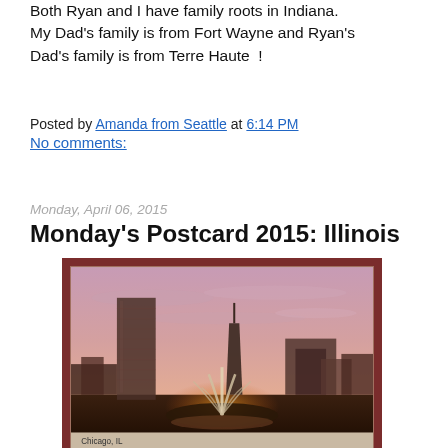Both Ryan and I have family roots in Indiana. My Dad's family is from Fort Wayne and Ryan's Dad's family is from Terre Haute  !
Posted by Amanda from Seattle at 6:14 PM
No comments:
Monday, April 06, 2015
Monday's Postcard 2015: Illinois
[Figure (photo): Vintage postcard of Chicago, IL at dusk showing Buckingham Fountain illuminated with water jets, Chicago skyline with skyscrapers including a tall rectangular tower and John Hancock Center silhouetted against a pink and purple sunset sky. Caption reads 'Chicago, IL']
[Figure (photo): Partial image of another postcard or photo visible at the bottom of the page, cut off.]